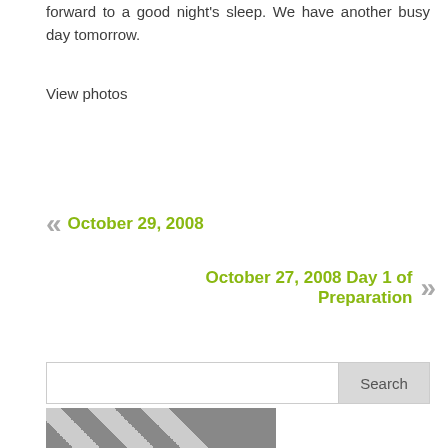forward to a good night's sleep. We have another busy day tomorrow.
View photos
October 29, 2008
October 27, 2008 Day 1 of Preparation
[Figure (other): Search bar with text input field and Search button]
[Figure (photo): Partial photo showing people, leopard print fabric visible]